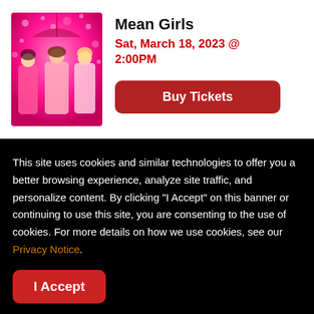[Figure (photo): Movie poster for Mean Girls showing three young women in pink outfits against a pink sparkly background]
Mean Girls
Sat, March 18, 2023 @ 2:00PM
Buy Tickets
This site uses cookies and similar technologies to offer you a better browsing experience, analyze site traffic, and personalize content. By clicking "I Accept" on this banner or continuing to use this site, you are consenting to the use of cookies. For more details on how we use cookies, see our Privacy Notice.
I Accept